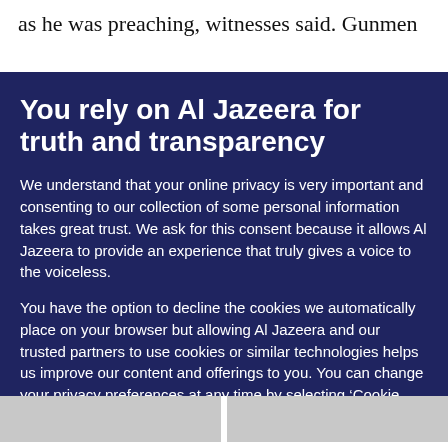as he was preaching, witnesses said. Gunmen
You rely on Al Jazeera for truth and transparency
We understand that your online privacy is very important and consenting to our collection of some personal information takes great trust. We ask for this consent because it allows Al Jazeera to provide an experience that truly gives a voice to the voiceless.
You have the option to decline the cookies we automatically place on your browser but allowing Al Jazeera and our trusted partners to use cookies or similar technologies helps us improve our content and offerings to you. You can change your privacy preferences at any time by selecting ‘Cookie preferences’ at the bottom of your screen. To learn more, please view our Cookie Policy.